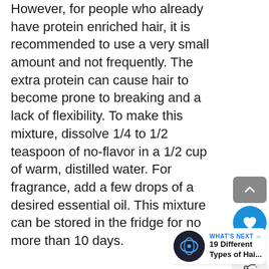However, for people who already have protein enriched hair, it is recommended to use a very small amount and not frequently. The extra protein can cause hair to become prone to breaking and a lack of flexibility. To make this mixture, dissolve 1/4 to 1/2 teaspoon of no-flavor in a 1/2 cup of warm, distilled water. For fragrance, add a few drops of a desired essential oil. This mixture can be stored in the fridge for no more than 10 days.
[Figure (screenshot): UI overlay with scroll-up button (grey), heart/like button (blue circle), share count '6', share button (circular), and a 'WHAT'S NEXT' widget showing '19 Different Types of Hai...' with a circular thumbnail.]